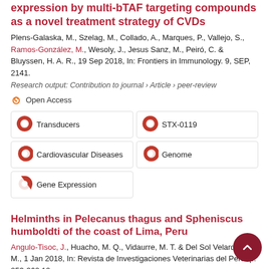expression by multi-bTAF targeting compounds as a novel treatment strategy of CVDs
Plens-Galaska, M., Szelag, M., Collado, A., Marques, P., Vallejo, S., Ramos-González, M., Wesoly, J., Jesus Sanz, M., Peiró, C. & Bluyssen, H. A. R., 19 Sep 2018, In: Frontiers in Immunology. 9, SEP, 2141.
Research output: Contribution to journal › Article › peer-review
Open Access
Transducers
STX-0119
Cardiovascular Diseases
Genome
Gene Expression
Helminths in Pelecanus thagus and Spheniscus humboldti of the coast of Lima, Peru
Angulo-Tisoc, J., Huacho, M. Q., Vidaurre, M. T. & Del Sol Velarde, J. M., 1 Jan 2018, In: Revista de Investigaciones Veterinarias del Peru. p. 253-262 10 p.
Research output: Contribution to journal › Article › peer-review